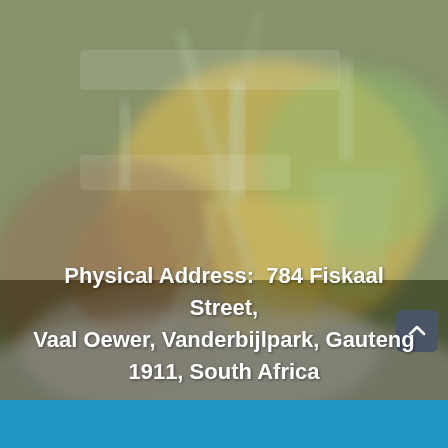[Figure (photo): Blurred background photo of laboratory glassware including conical flasks and beakers on a surface, with warm yellow and green tones, slightly faded white overlay on upper portion.]
Physical Address:  784 Fiskaal Street, Vaal Oewer, Vanderbijlpark, Gauteng 1911, South Africa